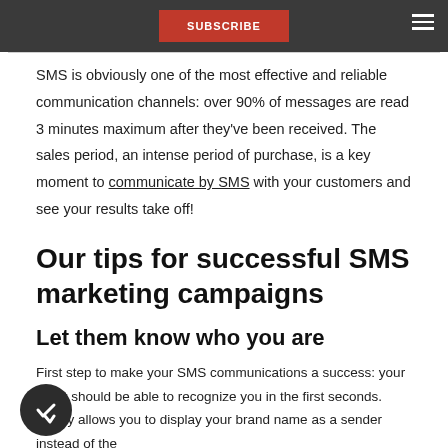SUBSCRIBE
SMS is obviously one of the most effective and reliable communication channels: over 90% of messages are read 3 minutes maximum after they've been received. The sales period, an intense period of purchase, is a key moment to communicate by SMS with your customers and see your results take off!
Our tips for successful SMS marketing campaigns
Let them know who you are
First step to make your SMS communications a success: your client should be able to recognize you in the first seconds. Mailify allows you to display your brand name as a sender instead of the